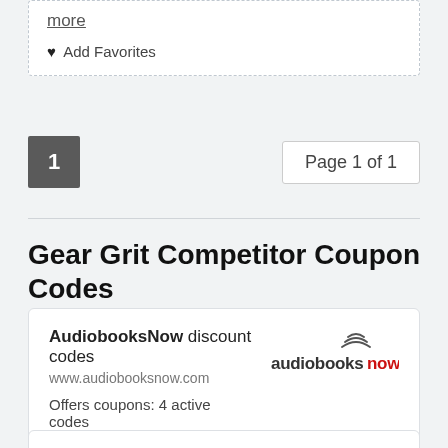more
♥ Add Favorites
1
Page 1 of 1
Gear Grit Competitor Coupon Codes
AudiobooksNow discount codes
www.audiobooksnow.com
Offers coupons: 4 active codes